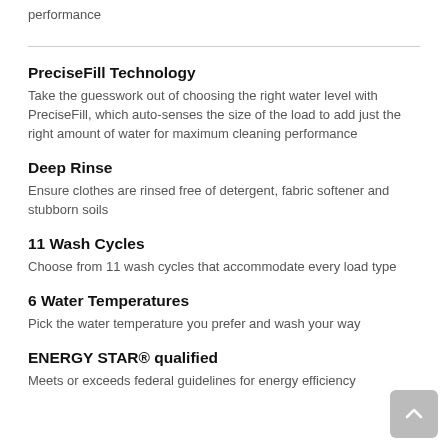performance
PreciseFill Technology
Take the guesswork out of choosing the right water level with PreciseFill, which auto-senses the size of the load to add just the right amount of water for maximum cleaning performance
Deep Rinse
Ensure clothes are rinsed free of detergent, fabric softener and stubborn soils
11 Wash Cycles
Choose from 11 wash cycles that accommodate every load type
6 Water Temperatures
Pick the water temperature you prefer and wash your way
ENERGY STAR® qualified
Meets or exceeds federal guidelines for energy efficiency